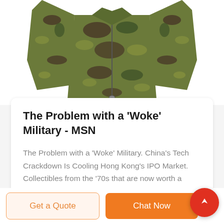[Figure (photo): Camouflage military jacket with long sleeves, viewed from front, green and brown tiger-stripe pattern]
The Problem with a 'Woke' Military - MSN
The Problem with a 'Woke' Military. China's Tech Crackdown Is Cooling Hong Kong's IPO Market. Collectibles from the '70s that are now worth a fortune. I used to belong to a war-fighting ...